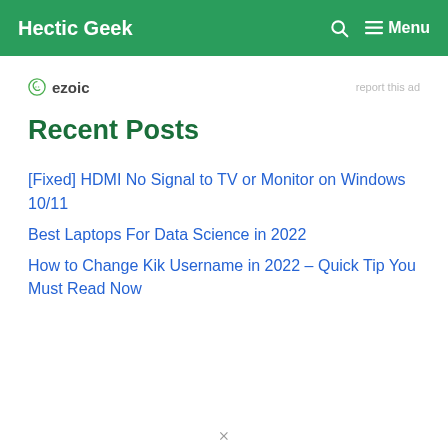Hectic Geek   🔍   ☰ Menu
[Figure (logo): Ezoic logo with circular badge icon and text 'ezoic']
report this ad
Recent Posts
[Fixed] HDMI No Signal to TV or Monitor on Windows 10/11
Best Laptops For Data Science in 2022
How to Change Kik Username in 2022 – Quick Tip You Must Read Now